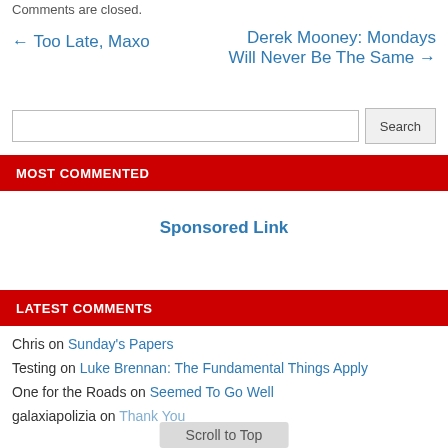Comments are closed.
← Too Late, Maxo
Derek Mooney: Mondays Will Never Be The Same →
Search
MOST COMMENTED
Sponsored Link
LATEST COMMENTS
Chris on Sunday's Papers
Testing on Luke Brennan: The Fundamental Things Apply
One for the Roads on Seemed To Go Well
galaxiapolizia on Thank You
Scroll to Top